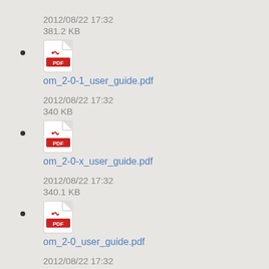2012/08/22 17:32
381.2 KB
om_2-0-1_user_guide.pdf
2012/08/22 17:32
340 KB
om_2-0-x_user_guide.pdf
2012/08/22 17:32
340.1 KB
om_2-0_user_guide.pdf
2012/08/22 17:32
333 KB